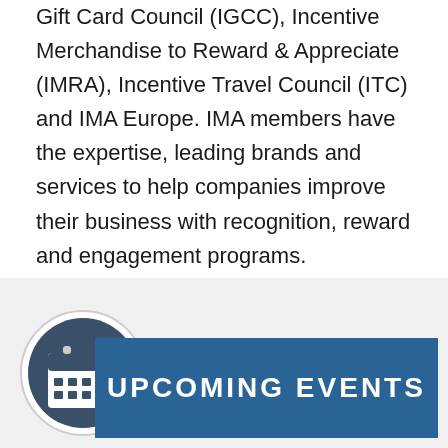Gift Card Council (IGCC), Incentive Merchandise to Reward & Appreciate (IMRA), Incentive Travel Council (ITC) and IMA Europe. IMA members have the expertise, leading brands and services to help companies improve their business with recognition, reward and engagement programs.
###
Contact: Ione Terrio • iterrio@incentivemarketing.org • 952-928-4649
[Figure (infographic): Upcoming Events banner with calendar icon circle on left and blue rectangle with 'UPCOMING EVENTS' text on right]